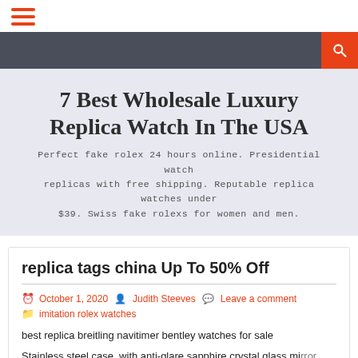[Figure (other): Hamburger menu icon with three red horizontal bars]
[Figure (other): Dark navigation bar with orange search button containing a magnifying glass icon]
7 Best Wholesale Luxury Replica Watch In The USA
Perfect fake rolex 24 hours online. Presidential watch replicas with free shipping. Reputable replica watches under $39. Swiss fake rolexs for women and men.
replica tags china Up To 50% Off
October 1, 2020   Judith Steeves   Leave a comment
imitation rolex watches
best replica breitling navitimer bentley watches for sale
Stainless steel case, with anti-glare sapphire crystal glass mirror and case back, stainless steel bezel, black ceramic screw-in crown and buttons, sandblasted titanium metal button protector